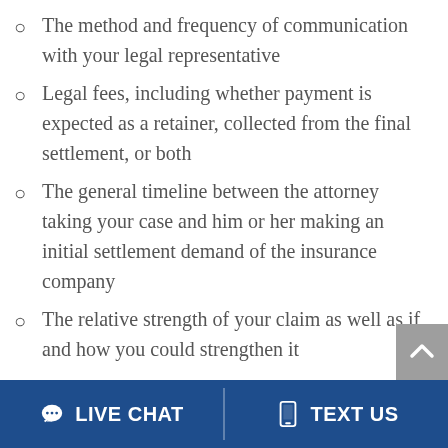The method and frequency of communication with your legal representative
Legal fees, including whether payment is expected as a retainer, collected from the final settlement, or both
The general timeline between the attorney taking your case and him or her making an initial settlement demand of the insurance company
The relative strength of your claim as well as if and how you could strengthen it
LIVE CHAT   TEXT US